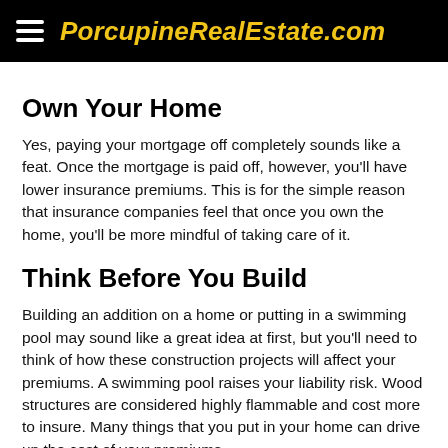PorcupineRealEstate.com
Own Your Home
Yes, paying your mortgage off completely sounds like a feat. Once the mortgage is paid off, however, you'll have lower insurance premiums. This is for the simple reason that insurance companies feel that once you own the home, you'll be more mindful of taking care of it.
Think Before You Build
Building an addition on a home or putting in a swimming pool may sound like a great idea at first, but you'll need to think of how these construction projects will affect your premiums. A swimming pool raises your liability risk. Wood structures are considered highly flammable and cost more to insure. Many things that you put in your home can drive up the cost of your premiums.